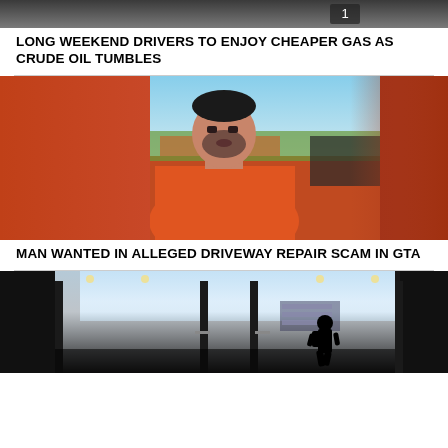[Figure (photo): Partial top image, cropped, showing a dark scene]
LONG WEEKEND DRIVERS TO ENJOY CHEAPER GAS AS CRUDE OIL TUMBLES
[Figure (photo): Man in orange shirt with beard, outdoors, blurred background]
MAN WANTED IN ALLEGED DRIVEWAY REPAIR SCAM IN GTA
[Figure (photo): Modern building exterior with glass doors, silhouette of person walking]